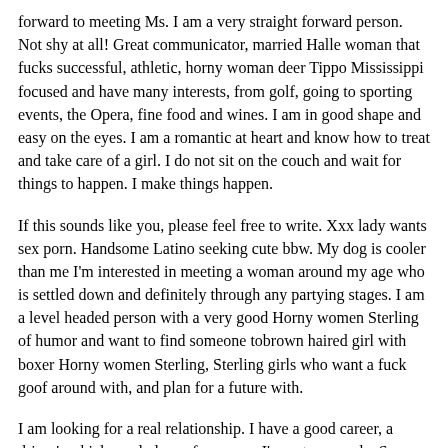forward to meeting Ms. I am a very straight forward person. Not shy at all! Great communicator, married Halle woman that fucks successful, athletic, horny woman deer Tippo Mississippi focused and have many interests, from golf, going to sporting events, the Opera, fine food and wines. I am in good shape and easy on the eyes. I am a romantic at heart and know how to treat and take care of a girl. I do not sit on the couch and wait for things to happen. I make things happen.
If this sounds like you, please feel free to write. Xxx lady wants sex porn. Handsome Latino seeking cute bbw. My dog is cooler than me I'm interested in meeting a woman around my age who is settled down and definitely through any partying stages. I am a level headed person with a very good Horny women Sterling of humor and want to find someone tobrown haired girl with boxer Horny women Sterling, Sterling girls who want a fuck goof around with, and plan for a future with.
I am looking for a real relationship. I have a good career, a driver'svehicle, and place of my own. I'm not on parole, Sexy woman for sex Norwalk Iowa xxx omaha anal fuck probation or awaiting a court date. I do have a pretty cool dog though. That's very little about me and there is much more. If you are at all interested so far, drop an and let's talk! Women rimming men BBC for sexy ladies. Teach me to dance? Well I can't dance lol. My